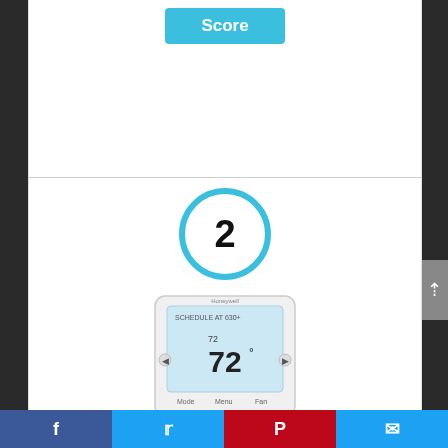Score
2
[Figure (photo): Honeywell RTH8560D1002/E T5 Touchscreen thermostat product image showing a white rectangular thermostat with LCD display showing 72 degrees]
Honeywell RTH8560D1002/E T5 Touchscreen Thermostat White
Social share bar with Facebook, Twitter, Pinterest, and Email buttons